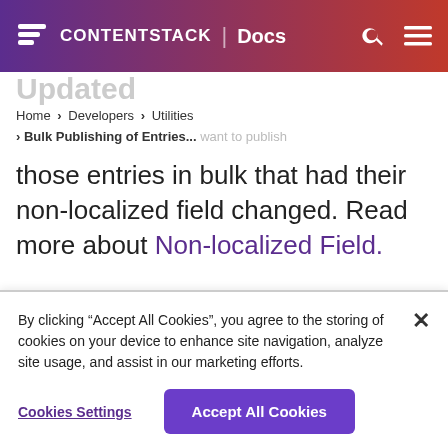CONTENTSTACK | Docs
Updated
Home > Developers > Utilities > Bulk Publishing of Entries...
those entries in bulk that had their non-localized field changed. Read more about Non-localized Field.
1. Open the config.js file and provide the necessary details in the following
By clicking “Accept All Cookies”, you agree to the storing of cookies on your device to enhance site navigation, analyze site usage, and assist in our marketing efforts.
Cookies Settings
Accept All Cookies